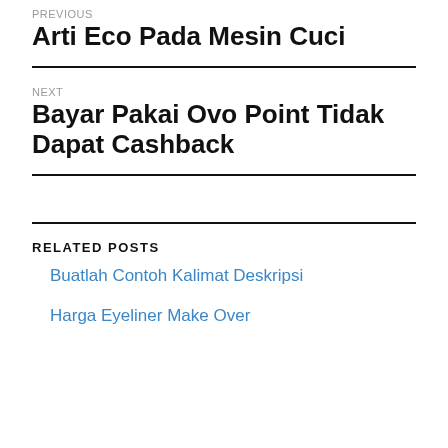PREVIOUS
Arti Eco Pada Mesin Cuci
NEXT
Bayar Pakai Ovo Point Tidak Dapat Cashback
RELATED POSTS
Buatlah Contoh Kalimat Deskripsi
Harga Eyeliner Make Over